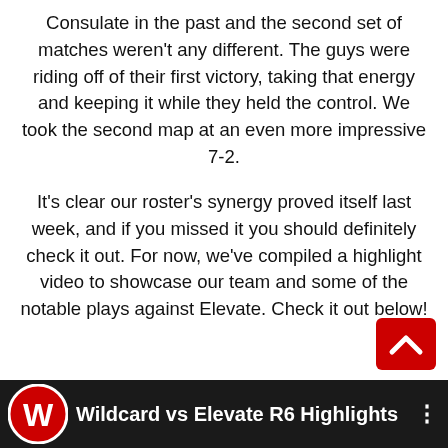Consulate in the past and the second set of matches weren't any different. The guys were riding off of their first victory, taking that energy and keeping it while they held the control. We took the second map at an even more impressive 7-2.
It's clear our roster's synergy proved itself last week, and if you missed it you should definitely check it out. For now, we've compiled a highlight video to showcase our team and some of the notable plays against Elevate. Check it out below!
[Figure (screenshot): Video thumbnail bar showing Wildcard vs Elevate R6 Highlights with a red and white logo on a black background, with a red scroll-to-top button in the bottom right corner.]